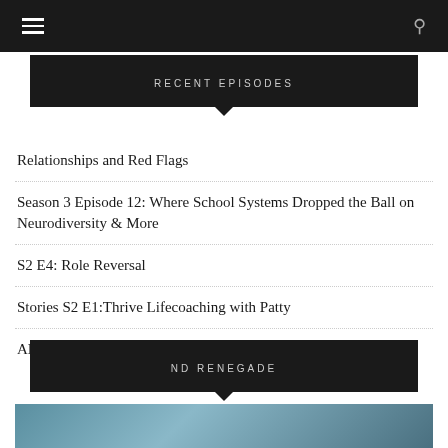Navigation bar with hamburger menu and search icon
RECENT EPISODES
Relationships and Red Flags
Season 3 Episode 12: Where School Systems Dropped the Ball on Neurodiversity & More
S2 E4: Role Reversal
Stories S2 E1:Thrive Lifecoaching with Patty
ADHD and Successful with Rob Krecak
ND RENEGADE
[Figure (photo): Photo of a person with blue hair wearing a t-shirt, partial view at bottom of page]